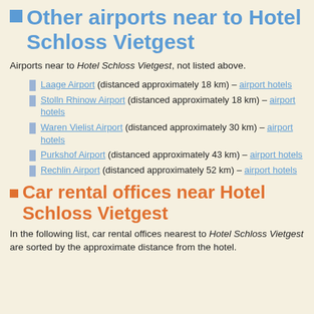Other airports near to Hotel Schloss Vietgest
Airports near to Hotel Schloss Vietgest, not listed above.
Laage Airport (distanced approximately 18 km) – airport hotels
Stolln Rhinow Airport (distanced approximately 18 km) – airport hotels
Waren Vielist Airport (distanced approximately 30 km) – airport hotels
Purkshof Airport (distanced approximately 43 km) – airport hotels
Rechlin Airport (distanced approximately 52 km) – airport hotels
Car rental offices near Hotel Schloss Vietgest
In the following list, car rental offices nearest to Hotel Schloss Vietgest are sorted by the approximate distance from the hotel.